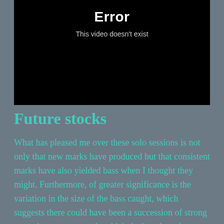[Figure (screenshot): Black video player area showing an error state with bold white 'Error' heading and lighter gray subtitle text 'This video doesn't exist']
Future stocks
What has pleased me over these solo sessions is not only that new marks have produced but that consistent marks have also yielded bass when I thought they might. Furthermore, of greater significance is the variation in the size of the bass caught, which suggests there could have been a succession of strong spawning year groups in which the bass have been able to grow and re-populate – great news for the future we all hope.